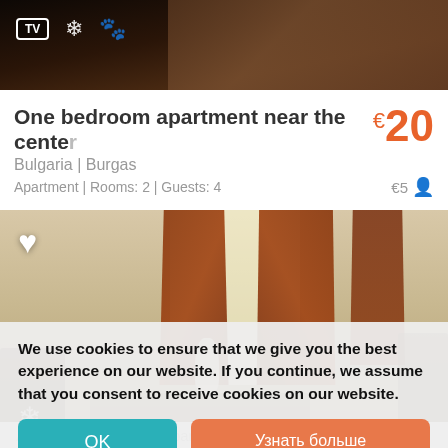[Figure (photo): Dark interior room photo with TV icon, snowflake icon, and pet-friendly paw icon overlaid on top]
One bedroom apartment near the center
€20
Bulgaria | Burgas
Apartment | Rooms: 2 | Guests: 4
€5 👤
[Figure (photo): Interior photo of apartment living/dining room with orange-red string curtains and a white vase, heart icon and snowflake icon overlaid]
We use cookies to ensure that we give you the best experience on our website. If you continue, we assume that you consent to receive cookies on our website.
OK
Узнать больше
Atlantis Resort & Spa Apartment